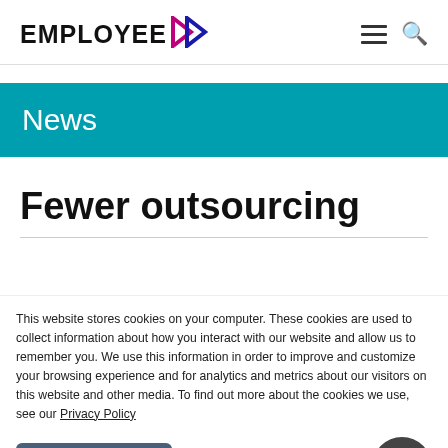EMPLOYEE >
News
Fewer outsourcing
This website stores cookies on your computer. These cookies are used to collect information about how you interact with our website and allow us to remember you. We use this information in order to improve and customize your browsing experience and for analytics and metrics about our visitors both on this website and other media. To find out more about the cookies we use, see our Privacy Policy
Accept